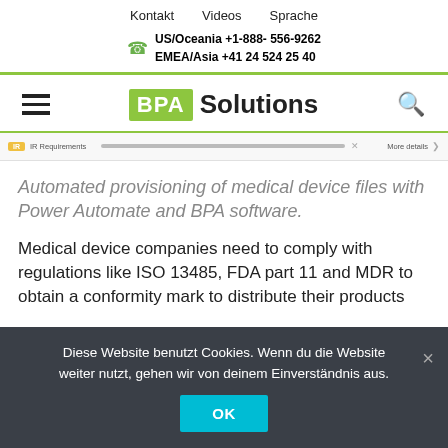Kontakt   Videos   Sprache
US/Oceania +1-888- 556-9262
EMEA/Asia +41 24 524 25 40
[Figure (logo): BPA Solutions logo with green BPA badge and bold Solutions text]
[Figure (screenshot): Partial screenshot showing IR Requirements label and More details link]
Automated provisioning of medical device files with Power Automate and BPA software.
Medical device companies need to comply with regulations like ISO 13485, FDA part 11 and MDR to obtain a conformity mark to distribute their products
Diese Website benutzt Cookies. Wenn du die Website weiter nutzt, gehen wir von deinem Einverständnis aus.
OK